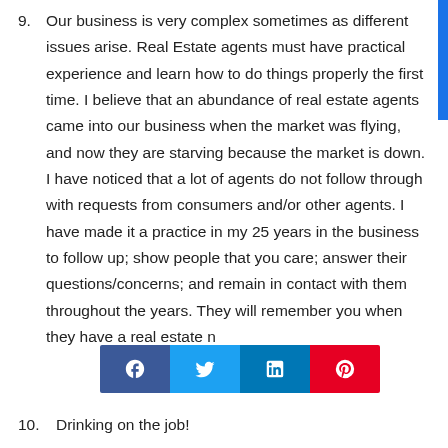9. Our business is very complex sometimes as different issues arise. Real Estate agents must have practical experience and learn how to do things properly the first time. I believe that an abundance of real estate agents came into our business when the market was flying, and now they are starving because the market is down. I have noticed that a lot of agents do not follow through with requests from consumers and/or other agents. I have made it a practice in my 25 years in the business to follow up; show people that you care; answer their questions/concerns; and remain in contact with them throughout the years. They will remember you when they have a real estate n
10. Drinking on the job!